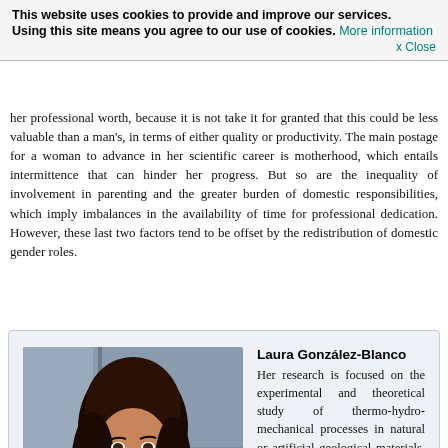her professional worth, because it is not take it for granted that this could be less valuable than a man's, in terms of either quality or productivity. The main postage for a woman to advance in her scientific career is motherhood, which entails intermittence that can hinder her progress. But so are the inequality of involvement in parenting and the greater burden of domestic responsibilities, which imply imbalances in the availability of time for professional dedication. However, these last two factors tend to be offset by the redistribution of domestic gender roles.
[Figure (photo): Photograph of Laura González-Blanco, a woman with long dark hair wearing a red jacket, standing outdoors in front of a building.]
Laura González-Blanco. Her research is focused on the experimental and theoretical study of thermo-hydro-mechanical processes in natural or artificial geological materials. She has worked mainly on the characterization of the constitutive behavior of geomaterials using multiscale and multiphysics experimental techniques, as well as on coupled constitutive models applied to saturated and unsaturated materials. Currently, she is participating in two projects: EURAD funded by European Union and GAST funded by the National Cooperative for the Disposal of Radioactive Waste of Switzerland (NAGRA).